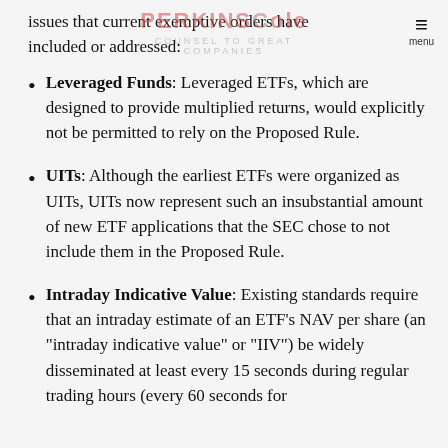issues that current exemptive orders have included or addressed:
Leveraged Funds: Leveraged ETFs, which are designed to provide multiplied returns, would explicitly not be permitted to rely on the Proposed Rule.
UITs: Although the earliest ETFs were organized as UITs, UITs now represent such an insubstantial amount of new ETF applications that the SEC chose to not include them in the Proposed Rule.
Intraday Indicative Value: Existing standards require that an intraday estimate of an ETF’s NAV per share (an “intraday indicative value” or “IIV”) be widely disseminated at least every 15 seconds during regular trading hours (every 60 seconds for